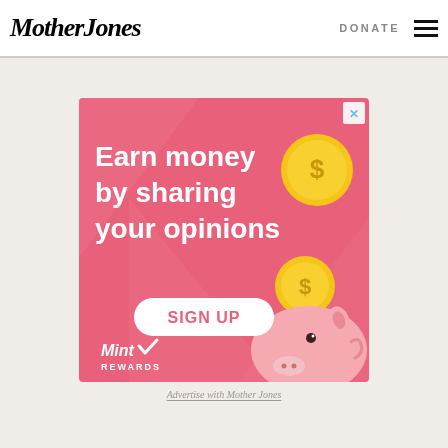Mother Jones | DONATE
[Figure (illustration): Advertisement: pink background with cartoon piggy bank, two gold dollar coins, white pill-shaped SIGN UP button, Mint Rewards logo. Text reads: Earn money by sharing your opinions. SIGN UP.]
Advertise with Mother Jones